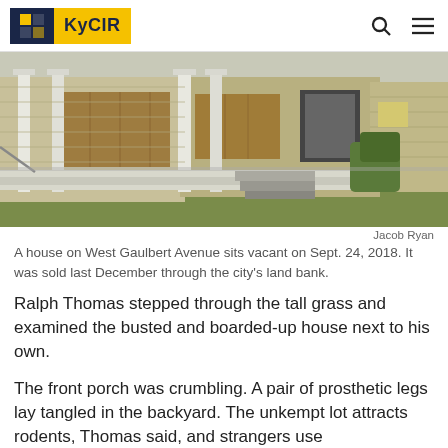KyCIR
[Figure (photo): A boarded-up vacant house on West Gaulbert Avenue with white porch columns, plywood over windows, and concrete front steps. Yellow siding visible. Taken Sept. 24, 2018.]
Jacob Ryan
A house on West Gaulbert Avenue sits vacant on Sept. 24, 2018. It was sold last December through the city’s land bank.
Ralph Thomas stepped through the tall grass and examined the busted and boarded-up house next to his own.
The front porch was crumbling. A pair of prosthetic legs lay tangled in the backyard. The unkempt lot attracts rodents, Thomas said, and strangers use